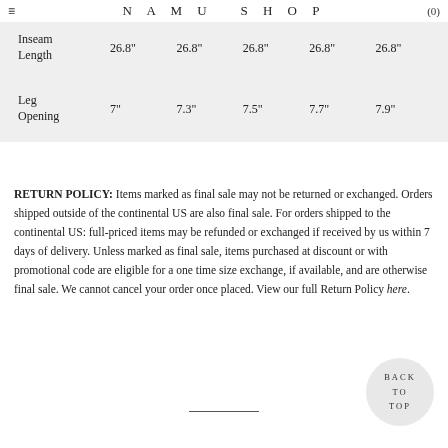≡ NAMU SHOP (0)
| Inseam Length | 26.8" | 26.8" | 26.8" | 26.8" | 26.8" |
| Leg Opening | 7" | 7.3" | 7.5" | 7.7" | 7.9" |
RETURN POLICY: Items marked as final sale may not be returned or exchanged. Orders shipped outside of the continental US are also final sale. For orders shipped to the continental US: full-priced items may be refunded or exchanged if received by us within 7 days of delivery. Unless marked as final sale, items purchased at discount or with promotional code are eligible for a one time size exchange, if available, and are otherwise final sale. We cannot cancel your order once placed. View our full Return Policy here.
BACK TO TOP